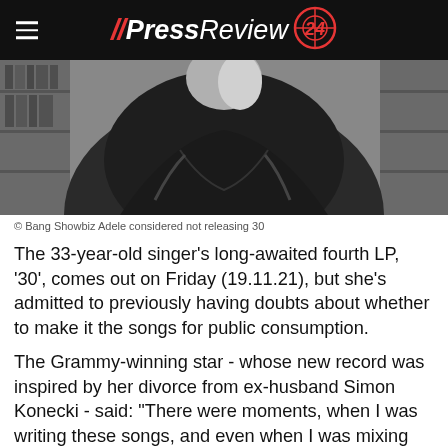// Press Review 24
[Figure (photo): Black and white photo of a person from behind wearing a black leather jacket, with blonde hair, against a blurred background of bookshelves]
© Bang Showbiz Adele considered not releasing 30
The 33-year-old singer's long-awaited fourth LP, '30', comes out on Friday (19.11.21), but she's admitted to previously having doubts about whether to make it the songs for public consumption.
The Grammy-winning star - whose new record was inspired by her divorce from ex-husband Simon Konecki - said: "There were moments, when I was writing these songs, and even when I was mixing them and stuff like that, where I was like, 'Maybe I don't need